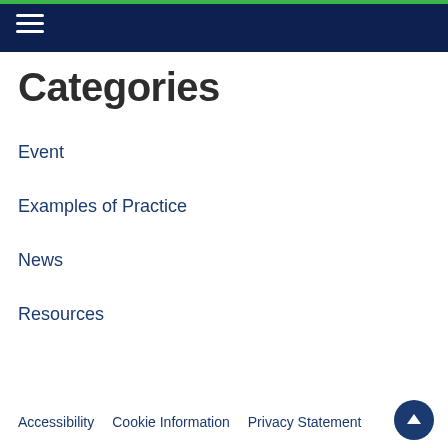Categories
Event
Examples of Practice
News
Resources
Accessibility   Cookie Information   Privacy Statement